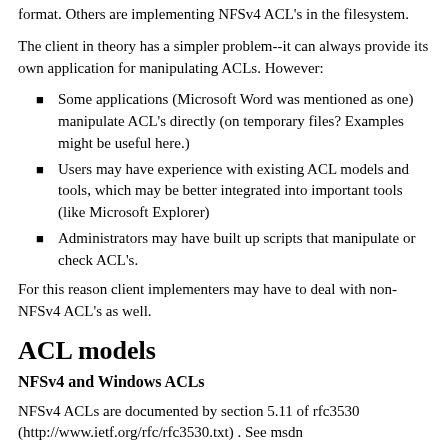format. Others are implementing NFSv4 ACL's in the filesystem.
The client in theory has a simpler problem--it can always provide its own application for manipulating ACLs. However:
Some applications (Microsoft Word was mentioned as one) manipulate ACL's directly (on temporary files? Examples might be useful here.)
Users may have experience with existing ACL models and tools, which may be better integrated into important tools (like Microsoft Explorer)
Administrators may have built up scripts that manipulate or check ACL's.
For this reason client implementers may have to deal with non-NFSv4 ACL's as well.
ACL models
NFSv4 and Windows ACLs
NFSv4 ACLs are documented by section 5.11 of rfc3530 (http://www.ietf.org/rfc/rfc3530.txt) . See msdn (http://msdn.microsoft.com/library/default.asp?url=/library/en-